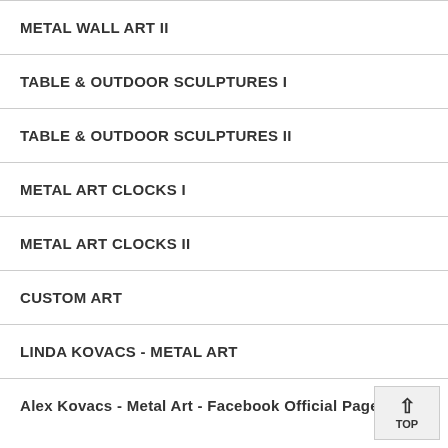METAL WALL ART II
TABLE & OUTDOOR SCULPTURES I
TABLE & OUTDOOR SCULPTURES II
METAL ART CLOCKS I
METAL ART CLOCKS II
CUSTOM ART
LINDA KOVACS - METAL ART
Alex Kovacs - Metal Art - Facebook Official Page